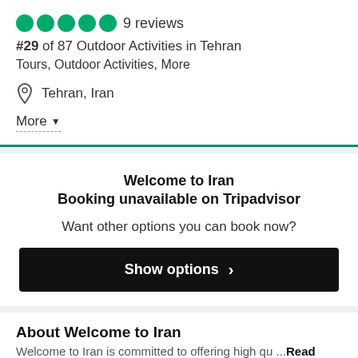●●●●● 9 reviews
#29 of 87 Outdoor Activities in Tehran
Tours, Outdoor Activities, More
Tehran, Iran
More ▼
Welcome to Iran
Booking unavailable on Tripadvisor
Want other options you can book now?
Show options ›
About Welcome to Iran
Welcome to Iran is committed to offering high qu…Read more
Open Now
Hours Today: 8:00 AM - 5:00 PM